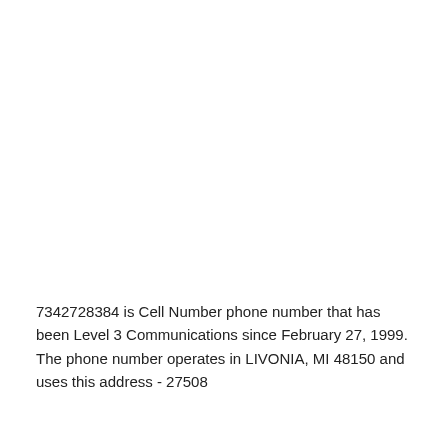7342728384 is Cell Number phone number that has been Level 3 Communications since February 27, 1999. The phone number operates in LIVONIA, MI 48150 and uses this address - 27508